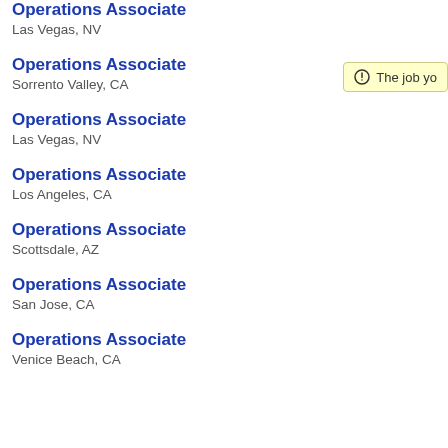Operations Associate
Las Vegas, NV
Operations Associate
Sorrento Valley, CA
Operations Associate
Las Vegas, NV
Operations Associate
Los Angeles, CA
Operations Associate
Scottsdale, AZ
Operations Associate
San Jose, CA
Operations Associate
Venice Beach, CA